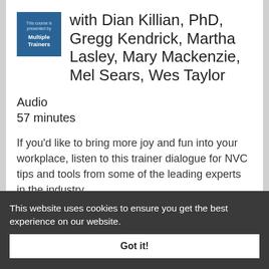[Figure (logo): Blue badge reading 'This course is presented by Multiple Trainers']
with Dian Killian, PhD, Gregg Kendrick, Martha Lasley, Mary Mackenzie, Mel Sears, Wes Taylor
Audio
57 minutes
If you'd like to bring more joy and fun into your workplace, listen to this trainer dialogue for NVC tips and tools from some of the leading experts in the industry.
Details...
This website uses cookies to ensure you get the best experience on our website.
Got it!